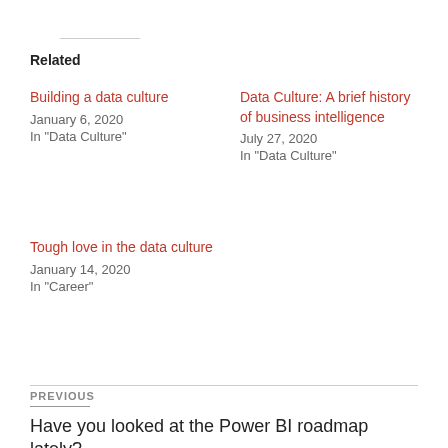Related
Building a data culture
January 6, 2020
In "Data Culture"
Data Culture: A brief history of business intelligence
July 27, 2020
In "Data Culture"
Tough love in the data culture
January 14, 2020
In "Career"
PREVIOUS
Have you looked at the Power BI roadmap lately?